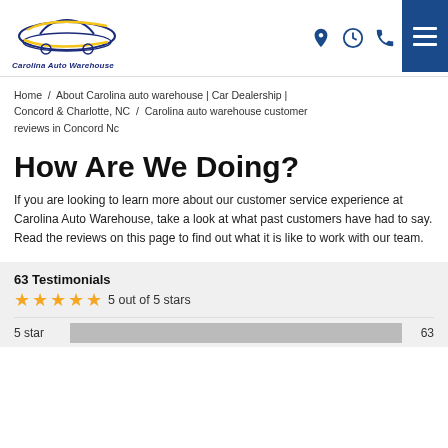Carolina Auto Warehouse — logo and navigation header
Home / About Carolina auto warehouse | Car Dealership | Concord & Charlotte, NC / Carolina auto warehouse customer reviews in Concord Nc
How Are We Doing?
If you are looking to learn more about our customer service experience at Carolina Auto Warehouse, take a look at what past customers have had to say. Read the reviews on this page to find out what it is like to work with our team.
63 Testimonials
5 out of 5 stars
5 star   63